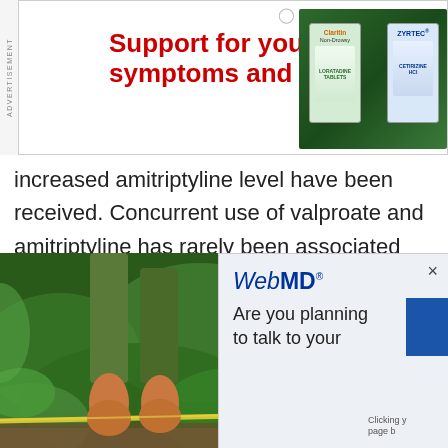[Figure (other): Advertisement banner for allergy medicine (Claritin, Zyrtec) with text 'Support for your symptoms and more']
increased amitriptyline level have been received. Concurrent use of valproate and amitriptyline has rarely been associated with toxicity. Monitoring of amitriptyline levels should be considered for patients taking valproate concomitantly with amitriptyline. Consideration should be given to
[Figure (photo): Photo of person's bare feet and green pants legs, appearing to walk on a slackline outdoors with green foliage in background]
[Figure (other): WebMD popup overlay with text 'Are you planning to talk to your' and a blue button, with close X button]